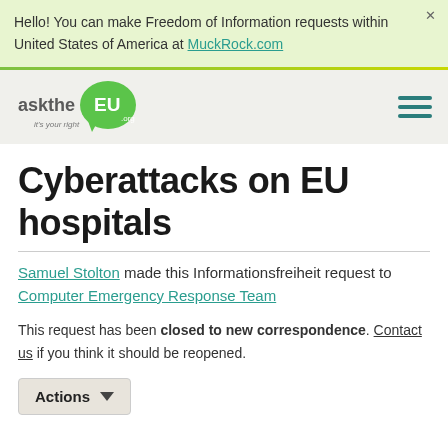Hello! You can make Freedom of Information requests within United States of America at MuckRock.com
[Figure (logo): AskTheEU.org logo — speech bubble with 'EU' text and tagline 'it's your right']
Cyberattacks on EU hospitals
Samuel Stolton made this Informationsfreiheit request to Computer Emergency Response Team
This request has been closed to new correspondence. Contact us if you think it should be reopened.
Actions